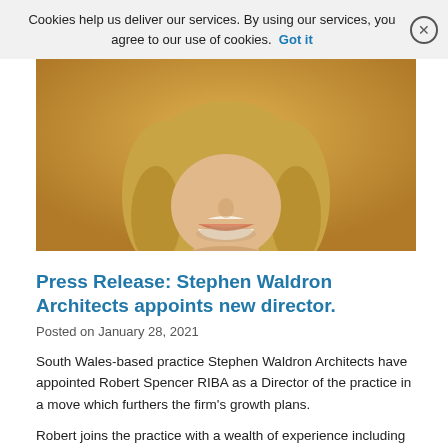Cookies help us deliver our services. By using our services, you agree to our use of cookies. Got it
[Figure (photo): Partial photo of a man with shoulder-length blonde hair and a black top, smiling, against a yellow/gold background. Only the lower face, neck, and shoulders are visible.]
Press Release: Stephen Waldron Architects appoints new director.
Posted on January 28, 2021
South Wales-based practice Stephen Waldron Architects have appointed Robert Spencer RIBA as a Director of the practice in a move which furthers the firm's growth plans.
Robert joins the practice with a wealth of experience including work with award-winning UK practices and a prestigious track record that has been committed to acquiring technical expertise to deliver innovation and creativity of design.